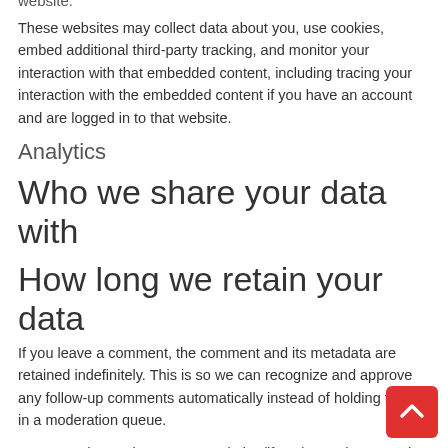website.
These websites may collect data about you, use cookies, embed additional third-party tracking, and monitor your interaction with that embedded content, including tracing your interaction with the embedded content if you have an account and are logged in to that website.
Analytics
Who we share your data with
How long we retain your data
If you leave a comment, the comment and its metadata are retained indefinitely. This is so we can recognize and approve any follow-up comments automatically instead of holding them in a moderation queue.
For users that register on our website (if any), we also store the personal information they provide in their user profile. All users can see, edit, or delete their personal information at any time (except they cannot change their username). Website administrators can